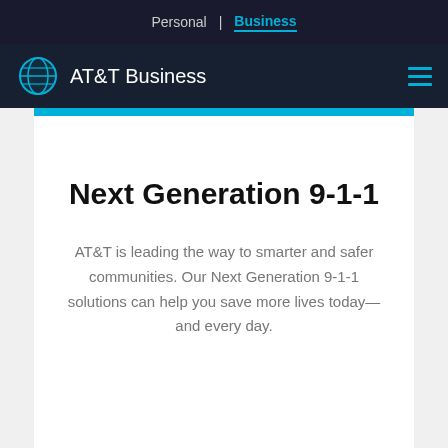Personal | Business
[Figure (logo): AT&T Business logo with globe icon and hamburger menu]
Next Generation 9-1-1
AT&T is leading the way to smarter and safer communities. Our Next Generation 9-1-1 solutions can help you save more lives today—and every day.